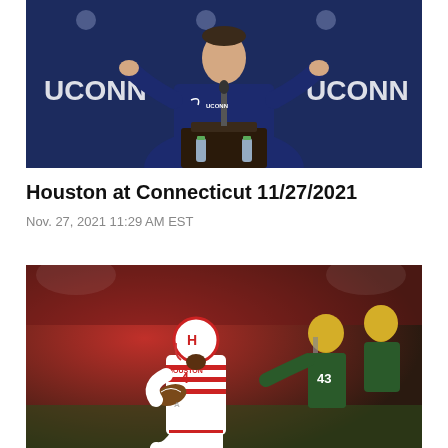[Figure (photo): A man in a navy UConn polo shirt stands at a podium with a microphone, gesturing with both hands. UConn logos appear on the backdrop behind him. Two water bottles are on the podium.]
Houston at Connecticut 11/27/2021
Nov. 27, 2021 11:29 AM EST
[Figure (photo): A Houston Cougars football player wearing #4 in a white uniform with red stripes carries the ball while opposing players in green and gold uniforms attempt to tackle him. The game is played indoors under bright lights.]